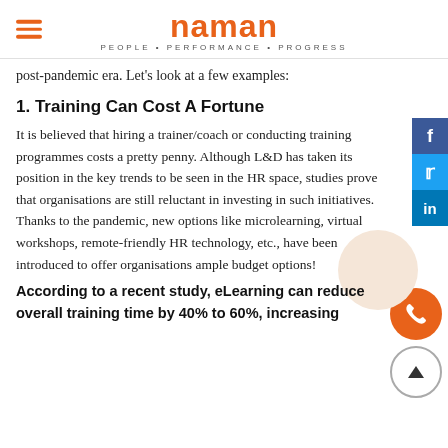naman PEOPLE • PERFORMANCE • PROGRESS
post-pandemic era. Let's look at a few examples:
1. Training Can Cost A Fortune
It is believed that hiring a trainer/coach or conducting training programmes costs a pretty penny. Although L&D has taken its position in the key trends to be seen in the HR space, studies prove that organisations are still reluctant in investing in such initiatives. Thanks to the pandemic, new options like microlearning, virtual workshops, remote-friendly HR technology, etc., have been introduced to offer organisations ample budget options!
According to a recent study, eLearning can reduce overall training time by 40% to 60%, increasing